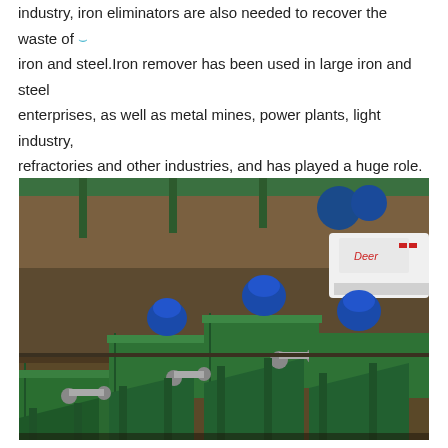industry, iron eliminators are also needed to recover the waste of iron and steel.Iron remover has been used in large iron and steel enterprises, as well as metal mines, power plants, light industry, refractories and other industries, and has played a huge role.
[Figure (photo): Industrial photo showing multiple green-painted iron remover / belt conveyor magnetic separator machines lined up in a workshop or outdoor facility, with blue electric motors on top, conveyor belts and collection troughs visible, and a white Deere vehicle in the background.]